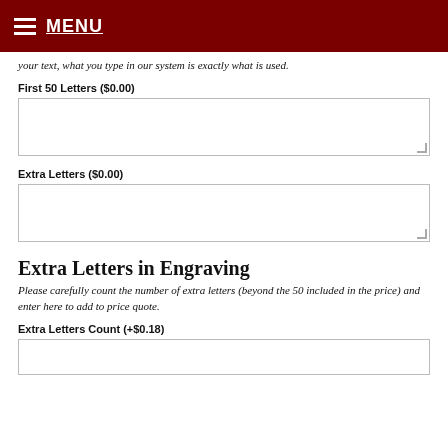MENU
your text, what you type in our system is exactly what is used.
First 50 Letters ($0.00)
Extra Letters ($0.00)
Extra Letters in Engraving
Please carefully count the number of extra letters (beyond the 50 included in the price) and enter here to add to price quote.
Extra Letters Count (+$0.18)